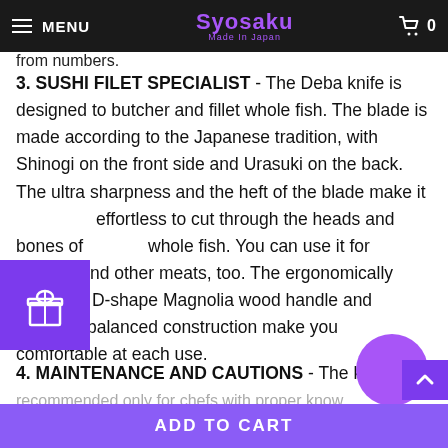MENU | Syosaku Made In Japan | 0
from numbers.
3. SUSHI FILET SPECIALIST - The Deba knife is designed to butcher and fillet whole fish. The blade is made according to the Japanese tradition, with Shinogi on the front side and Urasuki on the back. The ultra sharpness and the heft of the blade make it effortless to cut through the heads and bones of whole fish. You can use it for chicken and other meats, too. The ergonomically designed D-shape Magnolia wood handle and perfectly balanced construction make you comfortable at each use.
4. MAINTENANCE AND CAUTIONS - The knife recommended only for chefs with proper know...
ADD TO CART